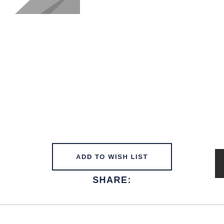[Figure (illustration): Partial image fragment at top-left corner, showing a grey/dark shape, likely part of a product or logo image clipped at the top of the page.]
ADD TO WISH LIST
SHARE: